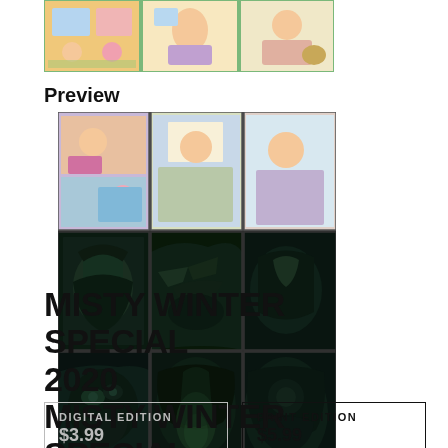[Figure (illustration): Top comic strip panels showing animated/illustrated scenes with characters in colorful settings]
Preview
[Figure (illustration): Grid of 9 comic panels: top row shows colorful animated style girls in a room setting; middle and bottom rows show dark gothic/horror style illustrations with creatures, hands, and eerie forest scenes]
MISTY WINTER SPECIAL 2020
MISTY WINTER SPECIAL
RELEASED 2ND DEC 2020
DIGITAL EDITION
$3.99
PRINT EDITION
$5.99